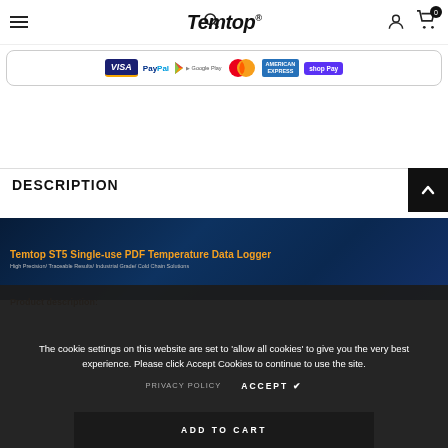Temtop® — navigation bar with hamburger, search, logo, account, cart (0)
[Figure (other): Payment method logos: VISA, PayPal, Google Play, MasterCard, American Express, Shop Pay]
DESCRIPTION
[Figure (photo): Temtop ST5 Single-use PDF Temperature Data Logger — product banner image with blue background. Title: 'Temtop ST5 Single-use PDF Temperature Data Logger'. Subtitle: 'High Precision/ Traceable Results/ Industrial Grade/ Cold Chain Solutions']
The cookie settings on this website are set to 'allow all cookies' to give you the very best experience. Please click Accept Cookies to continue to use the site.
PRIVACY POLICY   ACCEPT ✓
Product description:
ADD TO CART